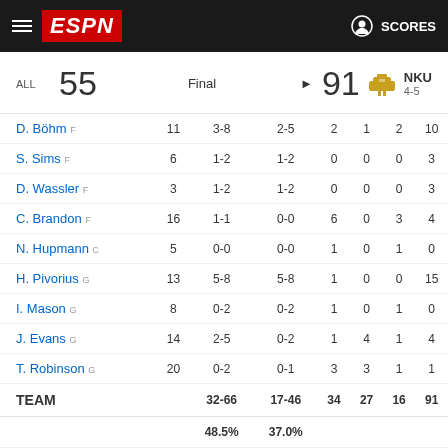ESPN SCORES
ALL 55 Final ▶ 91 NKU 4-5
| Player | MIN | FG | 3PT | REB | AST | STL | PTS |
| --- | --- | --- | --- | --- | --- | --- | --- |
| D. Böhm F | 11 | 3-8 | 2-5 | 2 | 1 | 2 | 10 |
| S. Sims F | 6 | 1-2 | 1-2 | 0 | 0 | 0 | 3 |
| D. Wassler F | 3 | 1-2 | 1-2 | 0 | 0 | 0 | 3 |
| C. Brandon F | 16 | 1-1 | 0-0 | 6 | 0 | 3 | 4 |
| N. Hupmann C | 5 | 0-0 | 0-0 | 1 | 0 | 1 | 0 |
| H. Pivorius G | 13 | 5-8 | 5-8 | 1 | 0 | 0 | 15 |
| I. Mason G | 8 | 0-2 | 0-2 | 1 | 0 | 1 | 0 |
| J. Evans G | 14 | 2-5 | 0-2 | 1 | 4 | 1 | 4 |
| T. Robinson G | 20 | 0-2 | 0-1 | 3 | 3 | 1 | 1 |
| TEAM |  | 32-66 | 17-46 | 34 | 27 | 16 | 91 |
|  |  | 48.5% | 37.0% |  |  |  |  |